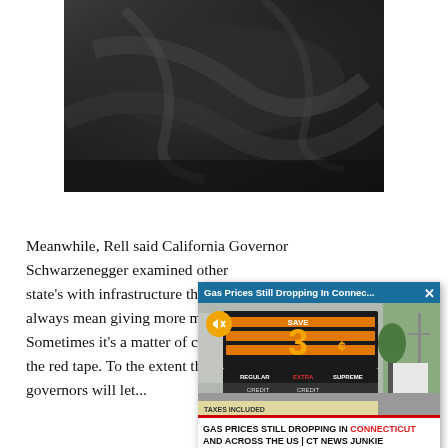[Figure (photo): Dark blurry close-up photo, appears to show dark fabric or seat material]
Meanwhile, Rell sa... California Governor... Schwarzenegger e... state's with infras... always mean givin... Sometimes it's a m... the red tape. To th... governors will let...
[Figure (screenshot): Video overlay popup titled 'Gas Prices Still Dropping In Connec...' showing a gas station price sign with '3 cents' save offer, REGULAR, EXTRA, SUPREME credit prices. Caption reads: GAS PRICES STILL DROPPING IN CONNECTICUT AND ACROSS THE US | CT NEWS JUNKIE. TAXES INCLUDED shown at bottom.]